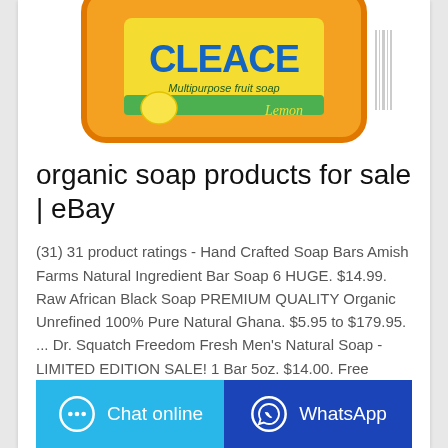[Figure (photo): Cleace Multipurpose Fruit Soap (Lemon) product image — orange/yellow packaging with blue and green brand name, partially visible at top of card]
organic soap products for sale | eBay
(31) 31 product ratings - Hand Crafted Soap Bars Amish Farms Natural Ingredient Bar Soap 6 HUGE. $14.99. Raw African Black Soap PREMIUM QUALITY Organic Unrefined 100% Pure Natural Ghana. $5.95 to $179.95. ... Dr. Squatch Freedom Fresh Men's Natural Soap - LIMITED EDITION SALE! 1 Bar 5oz. $14.00. Free shipping. 99 sold. Slick Beard and Body Soap ...
Chat online
WhatsApp